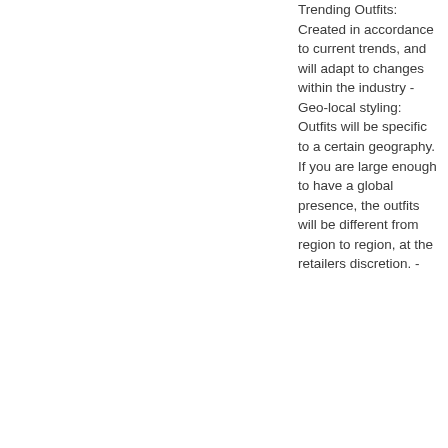Trending Outfits: Created in accordance to current trends, and will adapt to changes within the industry - Geo-local styling: Outfits will be specific to a certain geography. If you are large enough to have a global presence, the outfits will be different from region to region, at the retailers discretion. -